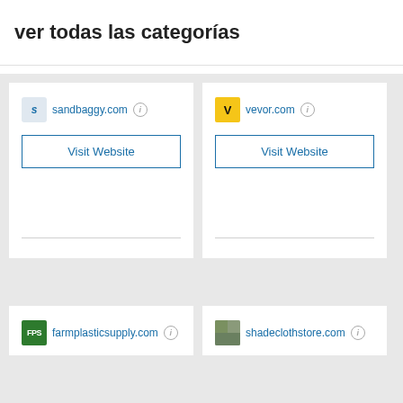ver todas las categorías
sandbaggy.com
Visit Website
vevor.com
Visit Website
farmplasticsupply.com
shadeclothstore.com